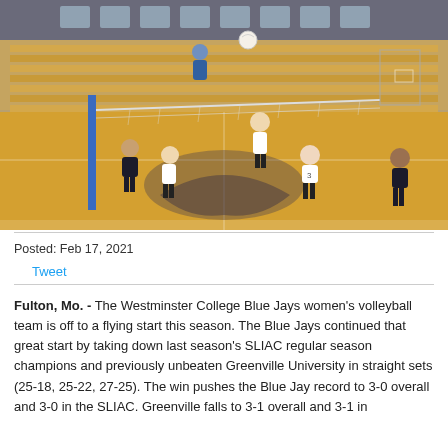[Figure (photo): Indoor volleyball game in a gymnasium. Players in white uniforms are competing at the net. Wooden bleachers and basketball hoop visible in background. Court has a large bird logo painted on the floor.]
Posted: Feb 17, 2021
Tweet
Fulton, Mo. - The Westminster College Blue Jays women's volleyball team is off to a flying start this season.  The Blue Jays continued that great start by taking down last season's SLIAC regular season champions and previously unbeaten Greenville University in straight sets (25-18, 25-22, 27-25).  The win pushes the Blue Jay record to 3-0 overall and 3-0 in the SLIAC. Greenville falls to 3-1 overall and 3-1 in